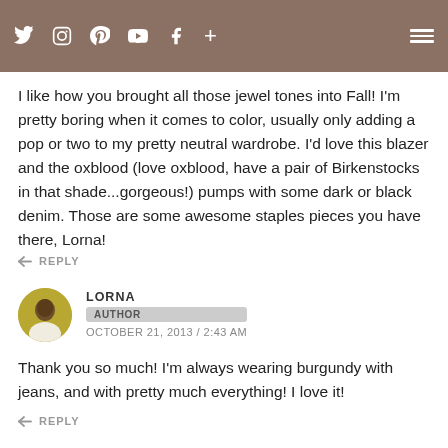Social media icons header bar
I like how you brought all those jewel tones into Fall! I'm pretty boring when it comes to color, usually only adding a pop or two to my pretty neutral wardrobe. I'd love this blazer and the oxblood (love oxblood, have a pair of Birkenstocks in that shade...gorgeous!)  pumps with some dark or black denim. Those are some awesome staples pieces you have there, Lorna!
REPLY
LORNA
AUTHOR
OCTOBER 21, 2013 / 2:43 AM
Thank you so much! I'm always wearing burgundy with jeans, and with pretty much everything! I love it!
REPLY